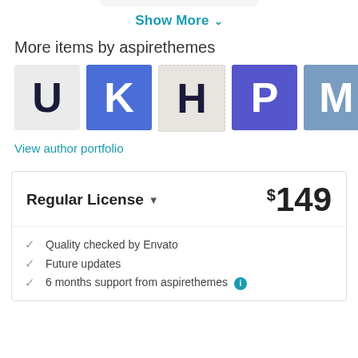Show More ▾
More items by aspirethemes
[Figure (illustration): Row of five thumbnail images representing themes: U (light gray bg), K (blue bg), H (light beige bg, dashed border), P (purple bg), M (sky blue/photo bg)]
View author portfolio
Regular License  $149
Quality checked by Envato
Future updates
6 months support from aspirethemes ℹ